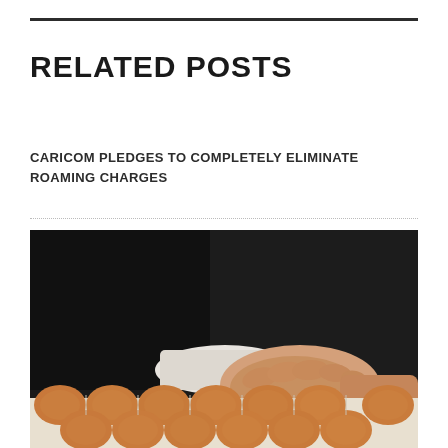RELATED POSTS
CARICOM PLEDGES TO COMPLETELY ELIMINATE ROAMING CHARGES
[Figure (photo): A person in a dark suit with white shirt cuff, hand reaching down over a tray of brown eggs arranged in an egg carton.]